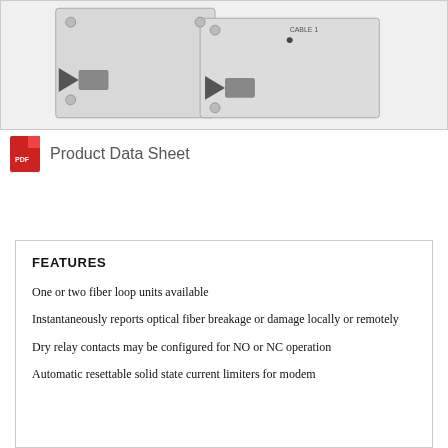[Figure (photo): Photo of fiber loop unit hardware — metal rack-mount panel with coaxial connectors and screws, showing two cable connectors labeled CABLE 1]
Product Data Sheet
FEATURES
One or two fiber loop units available
Instantaneously reports optical fiber breakage or damage locally or remotely
Dry relay contacts may be configured for NO or NC operation
Automatic resettable solid state current limiters for modem